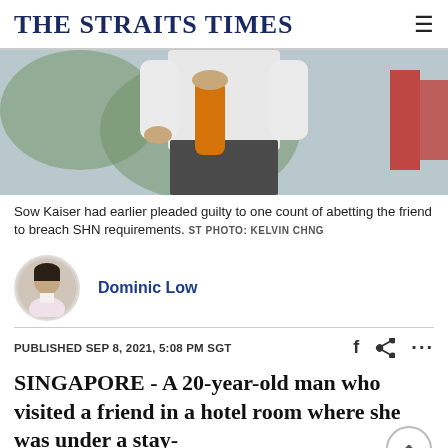THE STRAITS TIMES
[Figure (photo): Person in white shirt holding an orange water bottle, outdoors with blurred background including red decorative elements and greenery]
Sow Kaiser had earlier pleaded guilty to one count of abetting the friend to breach SHN requirements. ST PHOTO: KELVIN CHNG
Dominic Low
PUBLISHED SEP 8, 2021, 5:08 PM SGT
SINGAPORE - A 20-year-old man who visited a friend in a hotel room where she was under a stay-